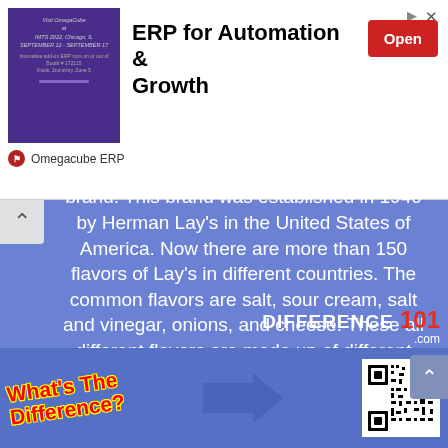[Figure (screenshot): Advertisement banner for Omegacube ERP with purple image on left, bold title 'ERP for Automation & Growth', red 'Open' button, and Omegacube ERP sponsor label below]
Lay's are the chips manufactured by Lay's brand. This brand was established in 1940 by Herman Lay's in the United States of America. Now there are more than 150 flavors of Lay's in different countries. The common flavors are salt, sour cream, salt and vinegar, onions, and cheese. These all different flavors are made up of different ingredients.
[Figure (screenshot): Difference101.com branding watermark and bottom promotional strip with 'What's The Difference?' text, arrow, and QR code]